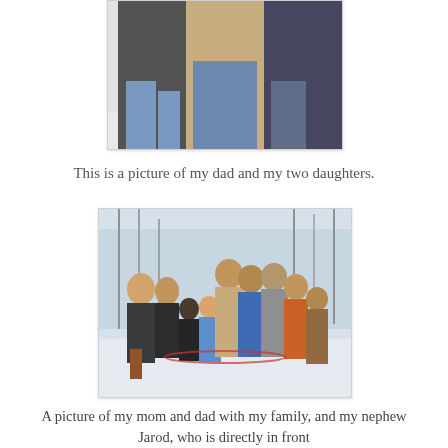[Figure (photo): Partial photo of three people standing together outdoors in winter clothing — a man in a tan jacket and jeans in the center, flanked by two others in dark jackets, snow visible in the background. Only the lower torsos and legs are fully visible, cropped at top.]
This is a picture of my dad and my two daughters.
[Figure (photo): Family group photo outdoors in a snowy winter setting. A large group of adults and children pose together in front of snow-covered pine trees. People are wearing winter coats and jackets in various colors including blue, orange, brown, and black.]
A picture of my mom and dad with my family, and my nephew Jarod, who is directly in front